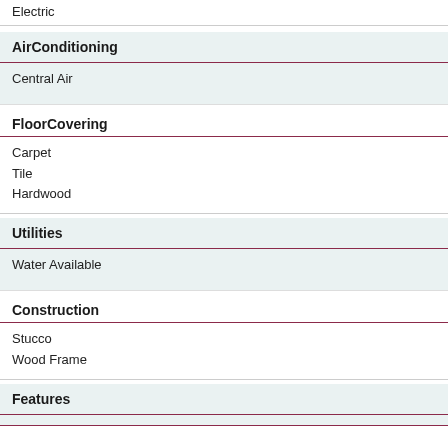Electric
AirConditioning
Central Air
FloorCovering
Carpet
Tile
Hardwood
Utilities
Water Available
Construction
Stucco
Wood Frame
Features